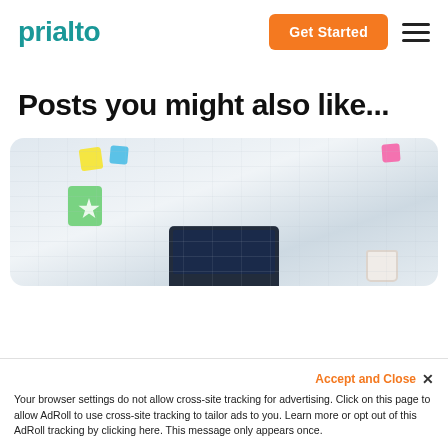prialto
Posts you might also like...
[Figure (photo): Blurred office desk scene with colorful sticky notes on a wall, a laptop, and a mug in the foreground]
Accept and Close ×
Your browser settings do not allow cross-site tracking for advertising. Click on this page to allow AdRoll to use cross-site tracking to tailor ads to you. Learn more or opt out of this AdRoll tracking by clicking here. This message only appears once.